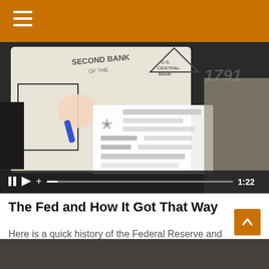[Figure (screenshot): Video player showing a hand drawing on paper with text 'Second Bank', 'U.S. Central Bank', '1791', with video controls showing pause, play, volume icons and timestamp 1:22]
The Fed and How It Got That Way
Here is a quick history of the Federal Reserve and an overview of what it does.